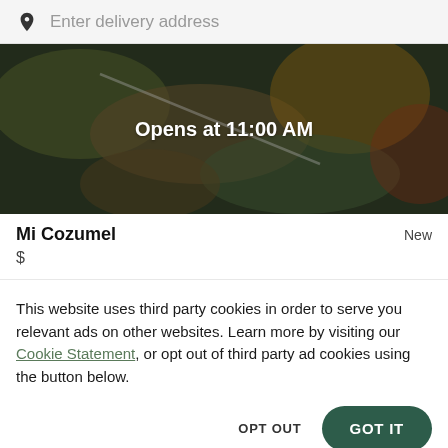Enter delivery address
[Figure (photo): Food photo showing Mexican dishes including tacos, guacamole and other items with dark overlay. Text overlay reads 'Opens at 11:00 AM']
Mi Cozumel
New
$
This website uses third party cookies in order to serve you relevant ads on other websites. Learn more by visiting our Cookie Statement, or opt out of third party ad cookies using the button below.
OPT OUT
GOT IT